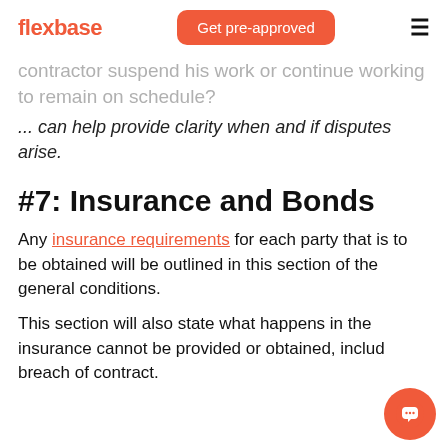flexbase | Get pre-approved | ☰
contractor suspend his work or continue working to remain on schedule?
... can help provide clarity when and if disputes arise.
#7: Insurance and Bonds
Any insurance requirements for each party that is to be obtained will be outlined in this section of the general conditions.
This section will also state what happens in the insurance cannot be provided or obtained, including breach of contract.